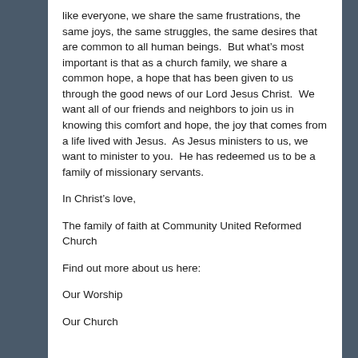like everyone, we share the same frustrations, the same joys, the same struggles, the same desires that are common to all human beings.  But what's most important is that as a church family, we share a common hope, a hope that has been given to us through the good news of our Lord Jesus Christ.  We want all of our friends and neighbors to join us in knowing this comfort and hope, the joy that comes from a life lived with Jesus.  As Jesus ministers to us, we want to minister to you.  He has redeemed us to be a family of missionary servants.
In Christ's love,
The family of faith at Community United Reformed Church
Find out more about us here:
Our Worship
Our Church